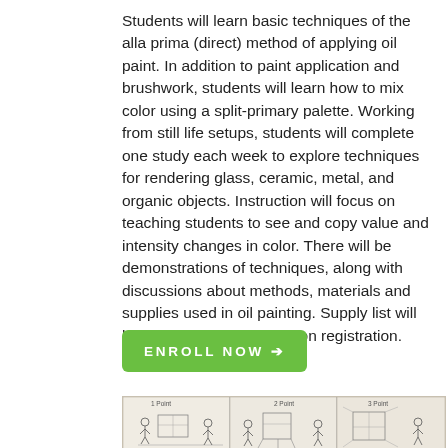Students will learn basic techniques of the alla prima (direct) method of applying oil paint. In addition to paint application and brushwork, students will learn how to mix color using a split-primary palette. Working from still life setups, students will complete one study each week to explore techniques for rendering glass, ceramic, metal, and organic objects. Instruction will focus on teaching students to see and copy value and intensity changes in color. There will be demonstrations of techniques, along with discussions about methods, materials and supplies used in oil painting. Supply list will be emailed to students upon registration. Skill level: Beginning
ENROLL NOW →
[Figure (illustration): Sketch illustration showing art/perspective drawing panels labeled '1 Point', '2 Point', '3 Point' with figures of students drawing]